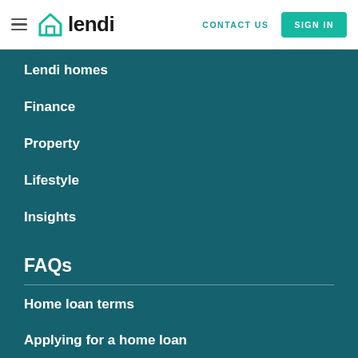lendi — CONTACT US  SIGN IN
Lendi homes
Finance
Property
Lifestyle
Insights
FAQs
Home loan terms
Applying for a home loan
First home owners
Fees
Property reports